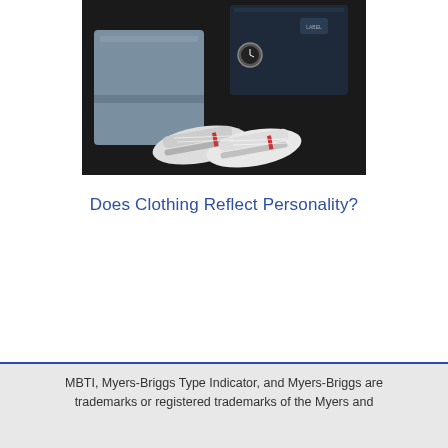[Figure (photo): Flat lay photo of clothing items on a dark background: folded grey trousers, a dark navy folded shirt or jacket, a watch, a dark item with a small label, and a pair of white canvas sneakers with red accents.]
Does Clothing Reflect Personality?
MBTI, Myers-Briggs Type Indicator, and Myers-Briggs are trademarks or registered trademarks of the Myers and